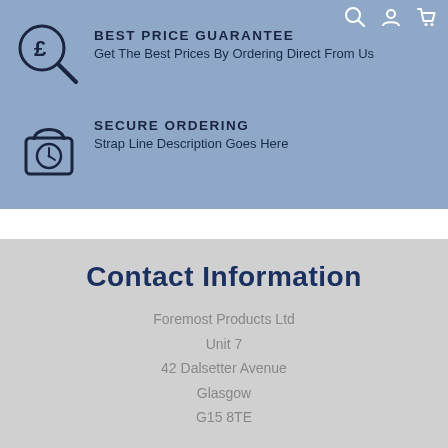[Figure (illustration): Pound sign with magnifying glass icon - best price guarantee]
BEST PRICE GUARANTEE
Get The Best Prices By Ordering Direct From Us
[Figure (illustration): Padlock with clock icon - secure ordering]
SECURE ORDERING
Strap Line Description Goes Here
Contact Information
Foremost Products Ltd
Unit 7
42 Dalsetter Avenue
Glasgow
G15 8TE
Help & Advice